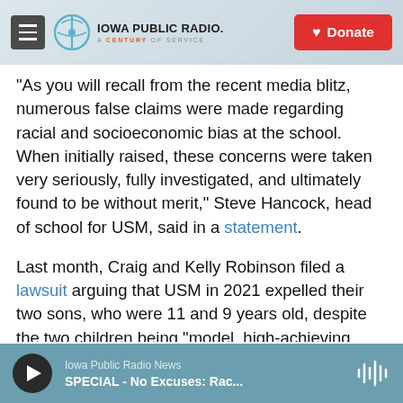Iowa Public Radio. A Century of Service. Donate
"As you will recall from the recent media blitz, numerous false claims were made regarding racial and socioeconomic bias at the school. When initially raised, these concerns were taken very seriously, fully investigated, and ultimately found to be without merit," Steve Hancock, head of school for USM, said in a statement.
Last month, Craig and Kelly Robinson filed a lawsuit arguing that USM in 2021 expelled their two sons, who were 11 and 9 years old, despite the two children being "model, high-achieving students."
The Robinsons say this happened following
Iowa Public Radio News | SPECIAL - No Excuses: Rac...